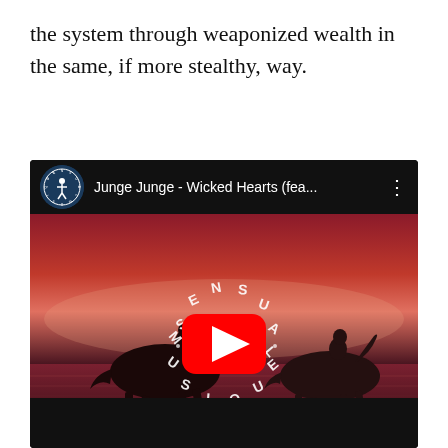the system through weaponized wealth in the same, if more stealthy, way.
[Figure (screenshot): YouTube video embed showing 'Junge Junge - Wicked Hearts (fea...' with a thumbnail of two silhouetted horse riders on a red-toned beach at sunset, with the Sensual Musique channel logo and a YouTube play button overlay.]